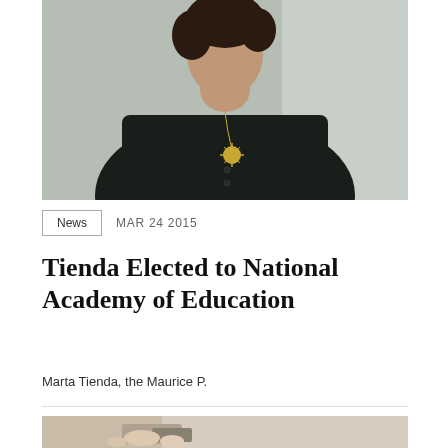[Figure (photo): Portrait photograph of a woman wearing a dark black outfit with a sun-shaped gold necklace pendant, photographed from approximately waist up against a light background.]
News  MAR 24 2015
Tienda Elected to National Academy of Education
Marta Tienda, the Maurice P.
[Figure (photo): Partial photograph showing hands, cropped at the bottom of the page.]